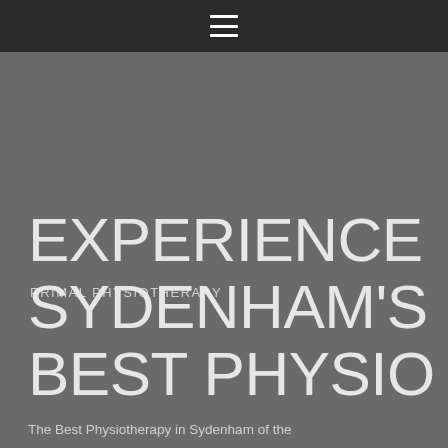☰ (hamburger menu icon)
PRIMAL PHYSIOTHERAPY
EXPERIENCE SYDENHAM'S BEST PHYSIO
The Best Physiotherapy in Sydenham of the...